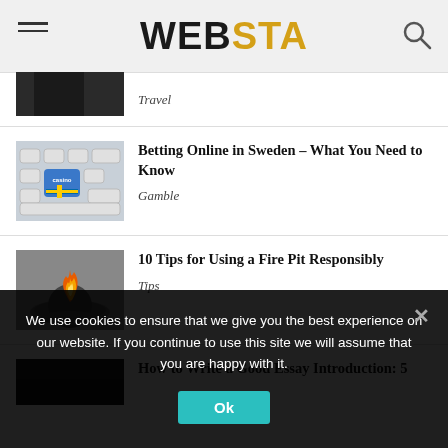WEBSTA
Travel
Betting Online in Sweden – What You Need to Know
Gamble
10 Tips for Using a Fire Pit Responsibly
Tips
How to Write a Good Essay Introduction: 5
We use cookies to ensure that we give you the best experience on our website. If you continue to use this site we will assume that you are happy with it.